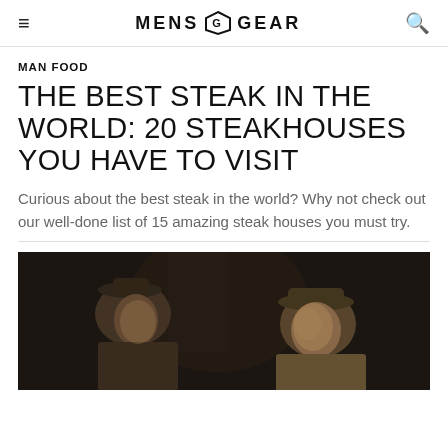MENS GEAR
MAN FOOD
THE BEST STEAK IN THE WORLD: 20 STEAKHOUSES YOU HAVE TO VISIT
Curious about the best steak in the world? Why not check out our well-done list of 15 amazing steak houses you must try.
[Figure (illustration): Painting depicting two men wearing hats in a dark, moody setting reminiscent of classical oil painting style.]